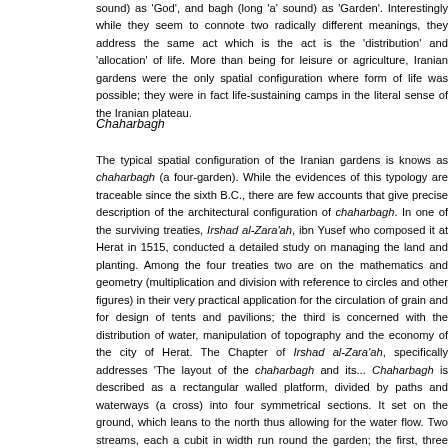sound) as 'God', and bagh (long 'a' sound) as 'Garden'. Interestingly while they seem to connote two radically different meanings, they address the same act which is the act is the 'distribution' and 'allocation' of life. More than being for leisure or agriculture, Iranian gardens were the only spatial configuration where form of life was possible; they were in fact life-sustaining camps in the literal sense of the Iranian plateau.
Chaharbagh
The typical spatial configuration of the Iranian gardens is knows as chaharbagh (a four-garden). While the evidences of this typology are traceable since the sixth B.C., there are few accounts that give precise description of the architectural configuration of chaharbagh. In one of the surviving treaties, Irshad al-Zara'ah, ibn Yusef who composed it at Herat in 1515, conducted a detailed study on managing the land and planting. Among the four treaties two are on the mathematics and geometry (multiplication and division with reference to circles and other figures) in their very practical application for the circulation of grain and for design of tents and pavilions; the third is concerned with the distribution of water, manipulation of topography and the economy of the city of Herat. The Chapter of Irshad al-Zara'ah, specifically addresses 'The layout of the chaharbagh and its... Chaharbagh is described as a rectangular walled platform, divided by paths and waterways (a cross) into four symmetrical sections. It set on the ground, which leans to the north thus allowing for the water flow. Two streams, each a cubit in width run round the garden; the first, three cubits from the wall, is separated from the outer and inner stream by a path three cubits wide. The main canal flows down the the